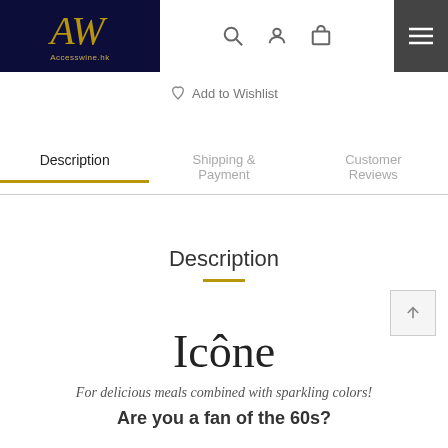AW accesswine.hk — navigation bar with search, account, cart, menu icons
Add to Wishlist
Description | Shipping & Payment | Customer Reviews
Description
Icône
For delicious meals combined with sparkling colors!
Are you a fan of the 60s?